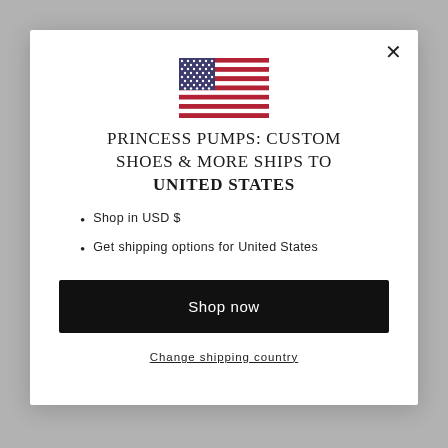[Figure (illustration): US flag SVG illustration inside modal dialog]
PRINCESS PUMPS: CUSTOM SHOES & MORE SHIPS TO UNITED STATES
Shop in USD $
Get shipping options for United States
Shop now
Change shipping country